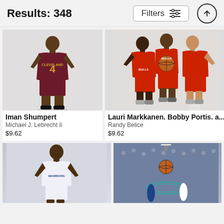Results: 348
[Figure (screenshot): Iman Shumpert in Cleveland Cavaliers #4 wine-colored uniform, standing full body on white background]
Iman Shumpert
Michael J. Lebrecht Ii
$9.62
[Figure (screenshot): Three Chicago Bulls players in red uniforms holding a basketball, studio photo on white background. Includes Lauri Markkanen, Bobby Portis, and another player.]
Lauri Markkanen. Bobby Portis. a...
Randy Belice
$9.62
[Figure (photo): Golden State Warriors player in white uniform standing, partial image]
[Figure (photo): NBA game action shot, basketball in air near hoop with crowd in background]